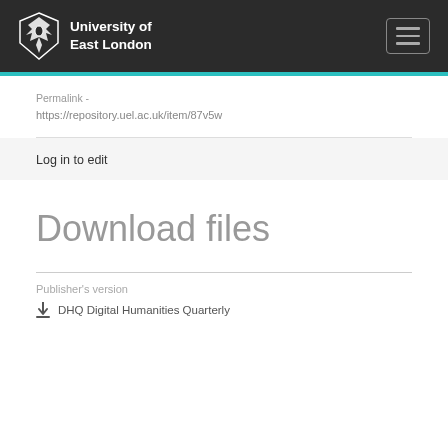University of East London
Permalink -
https://repository.uel.ac.uk/item/87v5w
Log in to edit
Download files
Publisher's version
DHQ Digital Humanities Quarterly